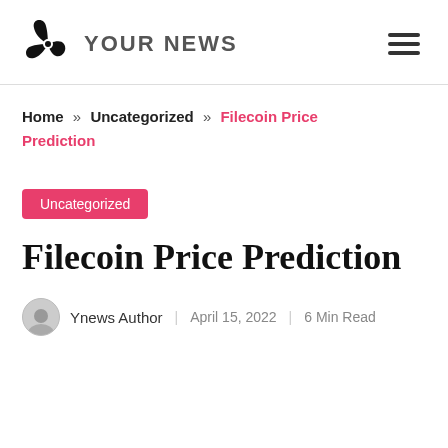YOUR NEWS
Home » Uncategorized » Filecoin Price Prediction
Uncategorized
Filecoin Price Prediction
Ynews Author | April 15, 2022 | 6 Min Read